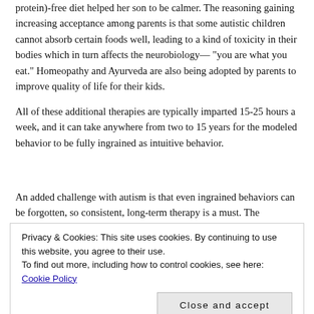protein)-free diet helped her son to be calmer. The reasoning gaining increasing acceptance among parents is that some autistic children cannot absorb certain foods well, leading to a kind of toxicity in their bodies which in turn affects the neurobiology—"you are what you eat." Homeopathy and Ayurveda are also being adopted by parents to improve quality of life for their kids.
All of these additional therapies are typically imparted 15-25 hours a week, and it can take anywhere from two to 15 years for the modeled behavior to be fully ingrained as intuitive behavior.
An added challenge with autism is that even ingrained behaviors can be forgotten, so consistent, long-term therapy is a must. The [text continues behind cookie banner]
Privacy & Cookies: This site uses cookies. By continuing to use this website, you agree to their use.
To find out more, including how to control cookies, see here: Cookie Policy
which, unlike some other states, does not mandate coverage for